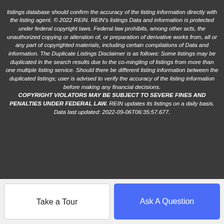listings database should confirm the accuracy of the listing information directly with the listing agent. © 2022 REIN. REIN's listings Data and information is protected under federal copyright laws. Federal law prohibits, among other acts, the unauthorized copying or alteration of, or preparation of derivative works from, all or any part of copyrighted materials, including certain compilations of Data and information. The Duplicate Listings Disclaimer is as follows: Some listings may be duplicated in the search results due to the co-mingling of listings from more than one multiple listing service. Should there be different listing information between the duplicated listings; user is advised to verify the accuracy of the listing information before making any financial decisions. COPYRIGHT VIOLATORS MAY BE SUBJECT TO SEVERE FINES AND PENALTIES UNDER FEDERAL LAW. REIN updates its listings on a daily basis. Data last updated: 2022-09-06T06:35:57.677.
© 2022 Williamsburg Multiple Listing Service, Inc. All rights reserved. This information is not to be used for any purpose other than...
Take a Tour
Ask A Question